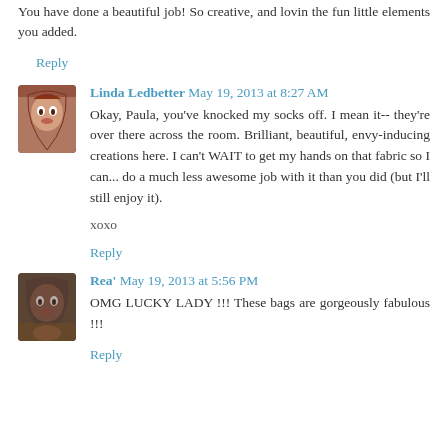You have done a beautiful job! So creative, and lovin the fun little elements you added.
Reply
Linda Ledbetter May 19, 2013 at 8:27 AM
Okay, Paula, you've knocked my socks off. I mean it-- they're over there across the room. Brilliant, beautiful, envy-inducing creations here. I can't WAIT to get my hands on that fabric so I can... do a much less awesome job with it than you did (but I'll still enjoy it).
xoxo
Reply
Rea' May 19, 2013 at 5:56 PM
OMG LUCKY LADY !!! These bags are gorgeously fabulous !!!
Reply